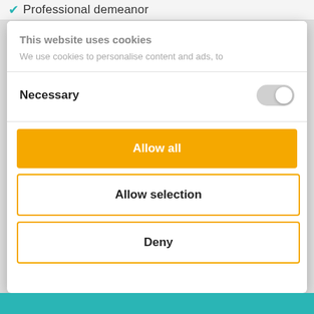Professional demeanor
This website uses cookies
We use cookies to personalise content and ads, to
Necessary
[Figure (screenshot): Toggle switch in off/grey position on the right side of the Necessary row]
[Figure (screenshot): Orange filled button labeled Allow all]
[Figure (screenshot): White button with orange border labeled Allow selection]
[Figure (screenshot): White button with orange border labeled Deny]